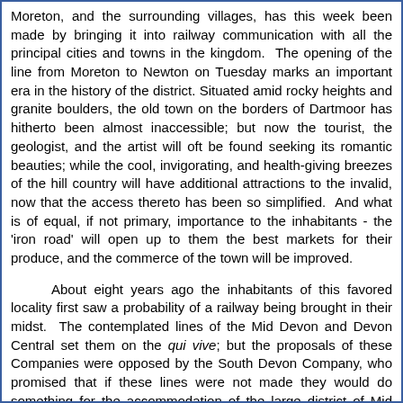Moreton, and the surrounding villages, has this week been made by bringing it into railway communication with all the principal cities and towns in the kingdom. The opening of the line from Moreton to Newton on Tuesday marks an important era in the history of the district. Situated amid rocky heights and granite boulders, the old town on the borders of Dartmoor has hitherto been almost inaccessible; but now the tourist, the geologist, and the artist will oft be found seeking its romantic beauties; while the cool, invigorating, and health-giving breezes of the hill country will have additional attractions to the invalid, now that the access thereto has been so simplified. And what is of equal, if not primary, importance to the inhabitants - the 'iron road' will open up to them the best markets for their produce, and the commerce of the town will be improved.
About eight years ago the inhabitants of this favored locality first saw a probability of a railway being brought in their midst. The contemplated lines of the Mid Devon and Devon Central set them on the qui vive; but the proposals of these Companies were opposed by the South Devon Company, who promised that if these lines were not made they would do something for the accommodation of the large district of Mid Devon. It thus chanced that a year or two later a branch line from the